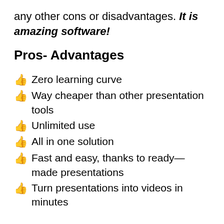any other cons or disadvantages. It is amazing software!
Pros- Advantages
Zero learning curve
Way cheaper than other presentation tools
Unlimited use
All in one solution
Fast and easy, thanks to ready—made presentations
Turn presentations into videos in minutes